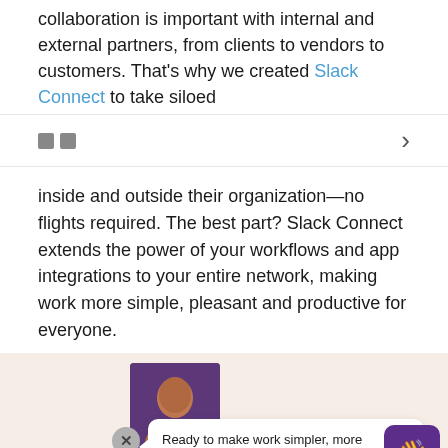collaboration is important with internal and external partners, from clients to vendors to customers. That's why we created Slack Connect to take siloed
[Figure (screenshot): Navigation bar with two small square icons on the left and a right-pointing chevron arrow on the right]
inside and outside their organization—no flights required. The best part? Slack Connect extends the power of your workflows and app integrations to your entire network, making work more simple, pleasant and productive for everyone.
[Figure (screenshot): Promotional section with beige/cream background showing a person photo, a chat bubble saying 'Ready to make work simpler, more pleasant, and more productive with Slack? ✳', a close button, a wave emoji button in purple, decorative cards, and a hand graphic at the bottom.]